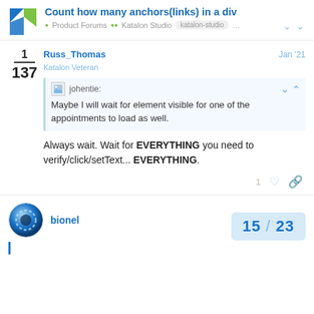Count how many anchors(links) in a div — Product Forums • Katalon Studio • katalon-studio
Russ_Thomas
Katalon Veteran
Jan '21
johentie: Maybe I will wait for element visible for one of the appointments to load as well.
Always wait. Wait for EVERYTHING you need to verify/click/setText... EVERYTHING.
bionel
Jan '21
15 / 23